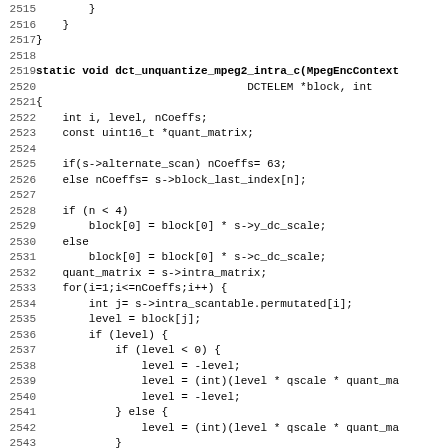Source code listing lines 2515-2547: dct_unquantize_mpeg2_intra_c function implementation in C